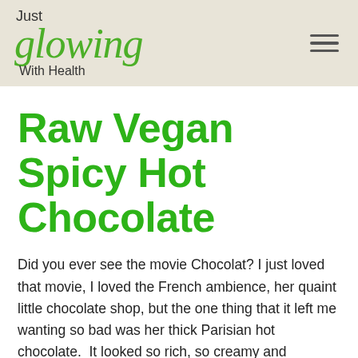Just glowing With Health
Raw Vegan Spicy Hot Chocolate
Did you ever see the movie Chocolat? I just loved that movie, I loved the French ambience, her quaint little chocolate shop, but the one thing that it left me wanting so bad was her thick Parisian hot chocolate.  It looked so rich, so creamy and chocolaty that I just had to have it!  Years later I ended up moving to Italy, and I found myself in this quaint little Italian pasticceria (past day and what do you think was the first t